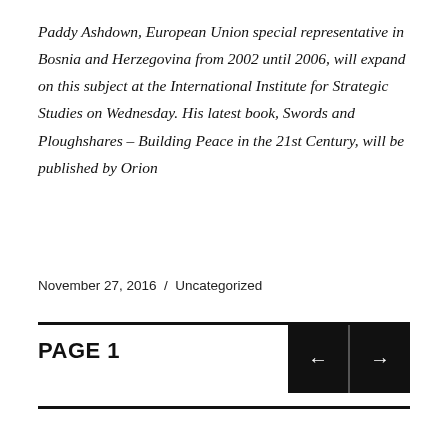Paddy Ashdown, European Union special representative in Bosnia and Herzegovina from 2002 until 2006, will expand on this subject at the International Institute for Strategic Studies on Wednesday. His latest book, Swords and Ploughshares – Building Peace in the 21st Century, will be published by Orion
November 27, 2016  /  Uncategorized
PAGE 1